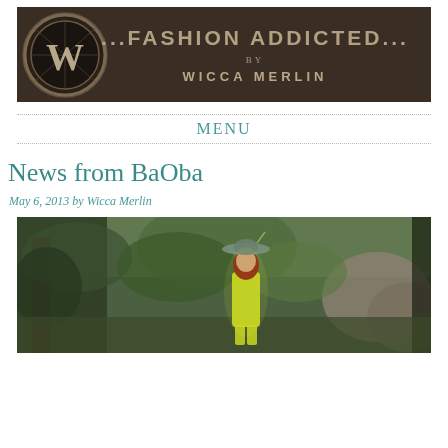[Figure (illustration): Website banner for '...Fashion Addicted... by Wicca Merlin' blog. Dark brown background with a circular W logo on the left and styled text on the right.]
MENU
News from BaOba
May 6, 2013 by Wicca Merlin
[Figure (photo): A virtual world (Second Life style) scene showing a female avatar with red hair wearing a yellow outfit and wide-brimmed hat, standing in a lush forest environment with rocks and trees.]